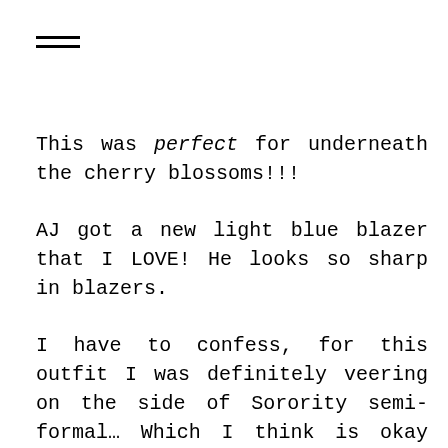[Figure (other): Hamburger menu icon (two horizontal lines)]
This was perfect for underneath the cherry blossoms!!!
AJ got a new light blue blazer that I LOVE! He looks so sharp in blazers.
I have to confess, for this outfit I was definitely veering on the side of Sorority semi-formal… Which I think is okay because Semi's used to toe the line of Kentucky derby/Easter/Connecticut Casual (a la Andy Bernard). And I'm okay with that.